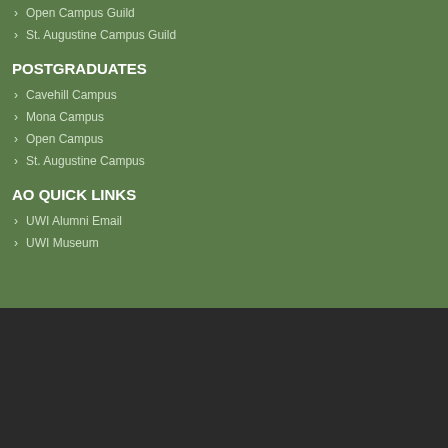Open Campus Guild
St. Augustine Campus Guild
POSTGRADUATES
Cavehill Campus
Mona Campus
Open Campus
St. Augustine Campus
AO QUICK LINKS
UWI Alumni Email
UWI Museum
Institutional Advancement Division
Office of the Vice Chancellor
UWI Regional Headquarters
Hermitage Road, Kingston 7, Jamaica, W.I.
Tel: 876-977-0052 or 0054	Fax: 876-977-0264
Copyright © 2015 UWI Alumni Online - Social Networking Site. All Rights Reserved.
Website Policies | Feedback | Advertise